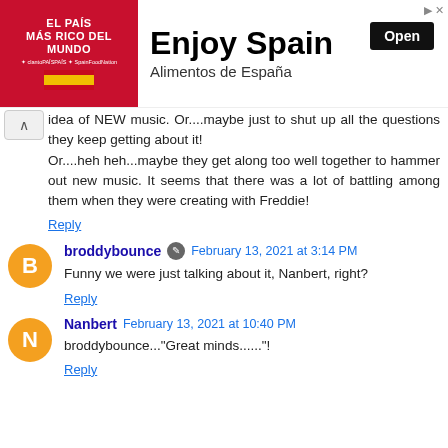[Figure (screenshot): Advertisement banner for 'Enjoy Spain - Alimentos de España' with red left panel showing 'EL PAÍS MÁS RICO DEL MUNDO' and black 'Open' button on right]
idea of NEW music. Or....maybe just to shut up all the questions they keep getting about it!
Or....heh heh...maybe they get along too well together to hammer out new music. It seems that there was a lot of battling among them when they were creating with Freddie!
Reply
broddybounce  February 13, 2021 at 3:14 PM
Funny we were just talking about it, Nanbert, right?
Reply
Nanbert  February 13, 2021 at 10:40 PM
broddybounce..."Great minds......"!
Reply